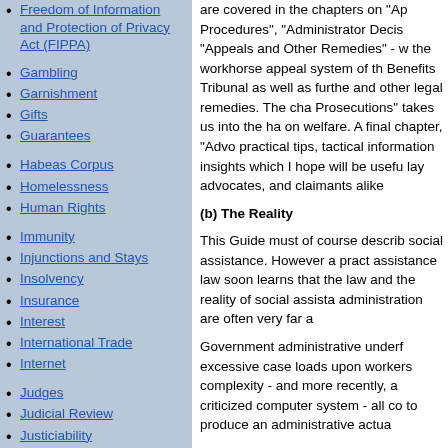Freedom of Information and Protection of Privacy Act (FIPPA)
Gambling
Garnishment
Gifts
Guarantees
Habeas Corpus
Homelessness
Human Rights
Immunity
Injunctions and Stays
Insolvency
Insurance
Interest
International Trade
Internet
Judges
Judicial Review
Justiciability
are covered in the chapters on "Ap Procedures", "Administrator Decis "Appeals and Other Remedies" - w the workhorse appeal system of th Benefits Tribunal as well as furthe and other legal remedies. The cha Prosecutions" takes us into the ha on welfare. A final chapter, "Advo practical tips, tactical information insights which I hope will be usefu lay advocates, and claimants alike
(b) The Reality
This Guide must of course describ social assistance. However a pract assistance law soon learns that the law and the reality of social assista administration are often very far a
Government administrative underf excessive case loads upon workers complexity - and more recently, a criticized computer system - all co to produce an administrative actua